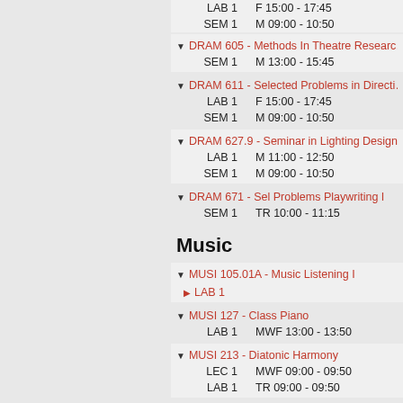LAB 1   F 15:00 - 17:45
SEM 1   M 09:00 - 10:50
DRAM 605 - Methods In Theatre Research
SEM 1   M 13:00 - 15:45
DRAM 611 - Selected Problems in Directing
LAB 1   F 15:00 - 17:45
SEM 1   M 09:00 - 10:50
DRAM 627.9 - Seminar in Lighting Design
LAB 1   M 11:00 - 12:50
SEM 1   M 09:00 - 10:50
DRAM 671 - Sel Problems Playwriting I
SEM 1   TR 10:00 - 11:15
Music
MUSI 105.01A - Music Listening I
LAB 1
MUSI 127 - Class Piano
LAB 1   MWF 13:00 - 13:50
MUSI 213 - Diatonic Harmony
LEC 1   MWF 09:00 - 09:50
LAB 1   TR 09:00 - 09:50